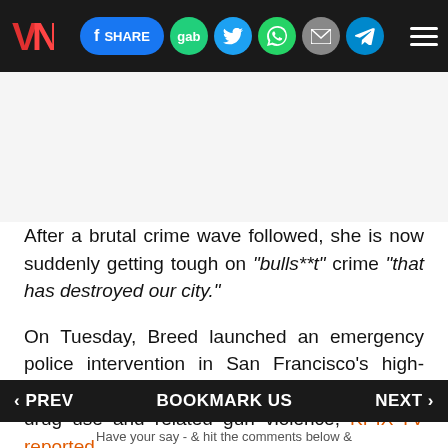VN [logo] | SHARE | gab | Twitter | WhatsApp | Email | Telegram | Menu
After a brutal crime wave followed, she is now suddenly getting tough on "bulls**t" crime "that has destroyed our city."
On Tuesday, Breed launched an emergency police intervention in San Francisco's high-crime Tenderloin neighborhood over rampant drug use and related gun violence, KPIX-TV reported.
‹ PREV   BOOKMARK US   NEXT ›
Have your say - & hit the comments below &